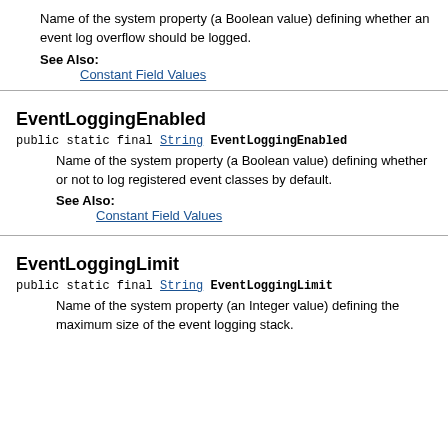Name of the system property (a Boolean value) defining whether an event log overflow should be logged.
See Also:
Constant Field Values
EventLoggingEnabled
public static final String EventLoggingEnabled
Name of the system property (a Boolean value) defining whether or not to log registered event classes by default.
See Also:
Constant Field Values
EventLoggingLimit
public static final String EventLoggingLimit
Name of the system property (an Integer value) defining the maximum size of the event logging stack.